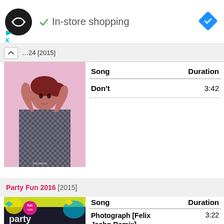[Figure (screenshot): App header bar with logo circle, checkmark and 'In-store shopping' text, blue diamond navigation icon]
[2015]
[Figure (photo): Album art showing a young woman with red hair in a black and white patterned outfit against a pink background]
| Song | Duration |
| --- | --- |
| Don't | 3:42 |
Party Fun 2016 [2015]
[Figure (photo): Album art for Party Fun 2016 showing colorful party-themed design with Fun Radio logo]
| Song | Duration |
| --- | --- |
| Photograph [Felix Jaehn Remix] | 3:22 |